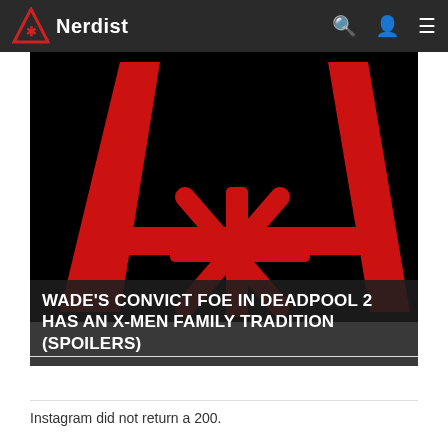Nerdist
[Figure (logo): Nerdist logo — red triangle with asterisk/star symbol forming a stylized 'A' shape on black background, large hero image]
WADE'S CONVICT FOE IN DEADPOOL 2 HAS AN X-MEN FAMILY TRADITION (SPOILERS)
Instagram did not return a 200.